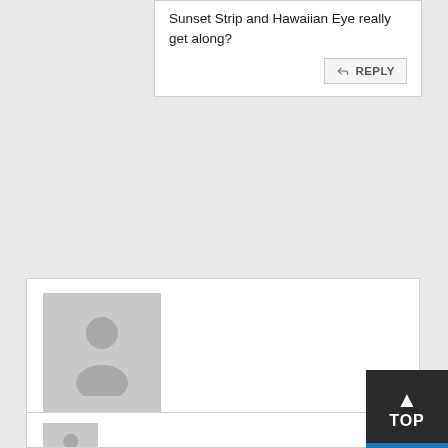Sunset Strip and Hawaiian Eye really get along?
REPLY
[Figure (illustration): Default user avatar placeholder — grey square with silhouette of a person]
EVAN
SEPTEMBER 09, 2021 12:16:57 PM
What replacement disc debacle? Was there an issue with the replacement discs or just the fact that replacements were required at all? I received my replacement disc but haven't watched it yet, so if it has an issue I'd like to know.
REPLY